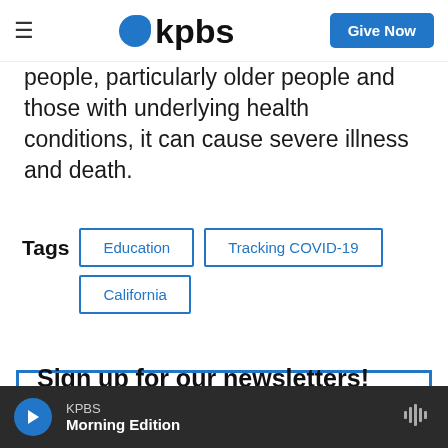KPBS | Give Now
people, particularly older people and those with underlying health conditions, it can cause severe illness and death.
Tags  Education  Tracking COVID-19  California
Sign up for our newsletters!
KPBS Morning Edition